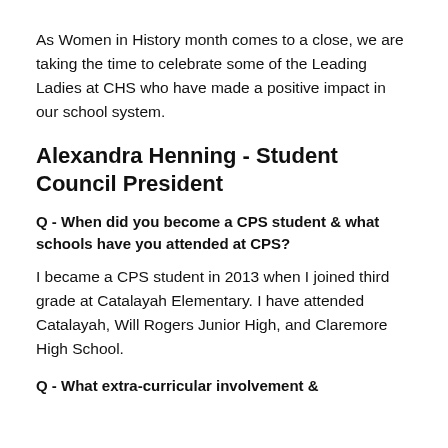As Women in History month comes to a close, we are taking the time to celebrate some of the Leading Ladies at CHS who have made a positive impact in our school system.
Alexandra Henning - Student Council President
Q - When did you become a CPS student & what schools have you attended at CPS?
I became a CPS student in 2013 when I joined third grade at Catalayah Elementary. I have attended Catalayah, Will Rogers Junior High, and Claremore High School.
Q - What extra-curricular involvement &